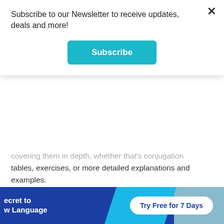Subscribe to our Newsletter to receive updates, deals and more!
Subscribe
covering them in depth, whether that's conjugation tables, exercises, or more detailed explanations and examples.
Alaric Hall has published a detailed grammar breakdown that's highly accessible for English speakers. There aren't any exercises, so be prepared to drill the grammar yourself. You can also download his modern Icelandic magic sheet for a quick reference guide.
ecret to w Language
Try Free for 7 Days